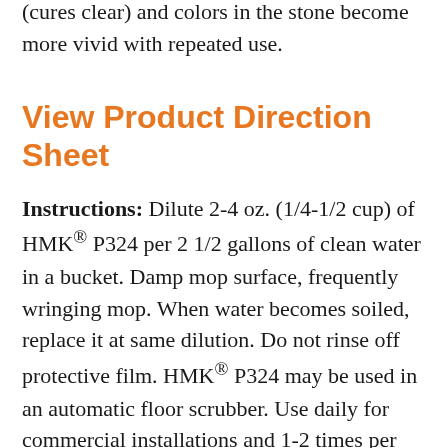(cures clear) and colors in the stone become more vivid with repeated use.
View Product Direction Sheet
Instructions: Dilute 2-4 oz. (1/4-1/2 cup) of HMK® P324 per 2 1/2 gallons of clean water in a bucket. Damp mop surface, frequently wringing mop. When water becomes soiled, replace it at same dilution. Do not rinse off protective film. HMK® P324 may be used in an automatic floor scrubber. Use daily for commercial installations and 1-2 times per week for residential installations.
Coverage: Up to 8000 square feet per liter diluted